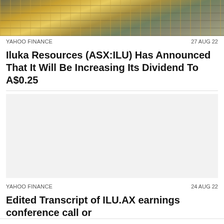[Figure (photo): Industrial mining facility with yellow conveyor machinery and equipment against a pale sky, snowy or light-colored terrain]
YAHOO FINANCE    27 AUG 22
Iluka Resources (ASX:ILU) Has Announced That It Will Be Increasing Its Dividend To A$0.25
[Figure (other): Grey advertisement placeholder box]
YAHOO FINANCE    24 AUG 22
Edited Transcript of ILU.AX earnings conference call or
Looks like you're in the US. Go to our US site to compare relevant products for your country.
Go to Finder US
No, stay on this page